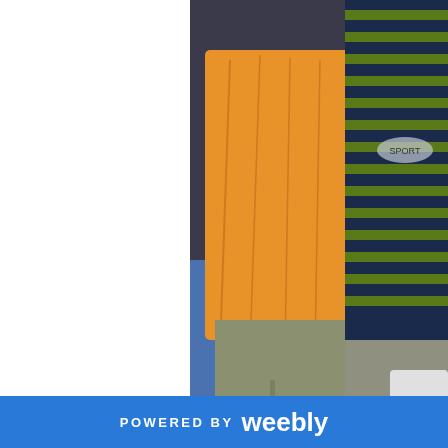[Figure (photo): Two people standing together — one in an orange long-sleeve shirt, another in a navy blue striped shirt with a logo. Partial torso/body shot.]
kid dancers falling in line to get their 100 p
by the way, i stayed in Beaumaris Lodge in dumanjug. here' enough. :) you may contact Beaumaris at this number : 0063 click on the pics to have a bigger view. :)
[Figure (photo): Room interior with green walls, white headboard, and curtained window.]
[Figure (photo): Room interior with green walls, floral curtains, air conditioning unit and TV.]
POWERED BY weebly